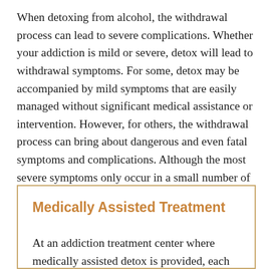When detoxing from alcohol, the withdrawal process can lead to severe complications. Whether your addiction is mild or severe, detox will lead to withdrawal symptoms. For some, detox may be accompanied by mild symptoms that are easily managed without significant medical assistance or intervention. However, for others, the withdrawal process can bring about dangerous and even fatal symptoms and complications. Although the most severe symptoms only occur in a small number of cases, emergency assistance is vital to ensure safety.
Medically Assisted Treatment
At an addiction treatment center where medically assisted detox is provided, each